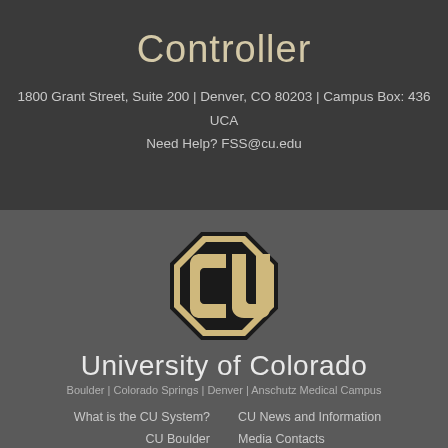Controller
1800 Grant Street, Suite 200 | Denver, CO 80203 | Campus Box: 436
UCA
Need Help? FSS@cu.edu
[Figure (logo): University of Colorado CU logo — gold and black interlocking C and U letters in a gold octagon shape]
University of Colorado
Boulder | Colorado Springs | Denver | Anschutz Medical Campus
What is the CU System?
CU News and Information
CU Boulder
Media Contacts
CU Colorado Springs
News Releases
CU Denver
Open Records Requests